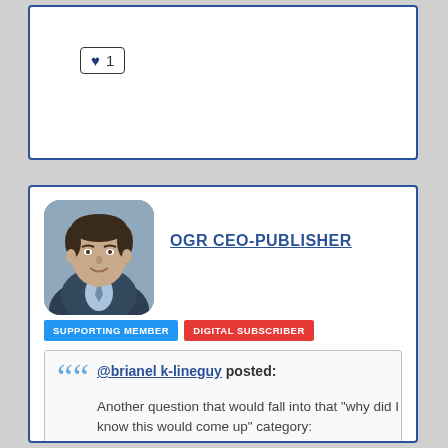[Figure (other): Like button with heart icon showing count of 1]
[Figure (photo): Profile photo of a middle-aged man in a suit, rounded corners]
OGR CEO-PUBLISHER
SUPPORTING MEMBER
DIGITAL SUBSCRIBER
@brianel k-lineguy posted: Another question that would fall into that "why did I know this would come up" category:

Can I pay for a supporting membership via a check thru the mail?

Yeah, I know. Before you tie me to the railroad tracks, I am decidedly an "old school" fellow when it comes to running trains... and much also